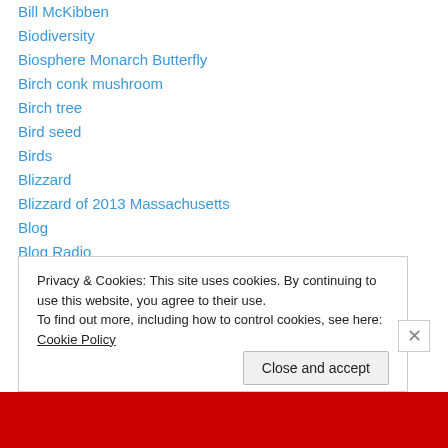Bill McKibben
Biodiversity
Biosphere Monarch Butterfly
Birch conk mushroom
Birch tree
Bird seed
Birds
Blizzard
Blizzard of 2013 Massachusetts
Blog
Blog Radio
Net of Light
Blog Talk Radio
Blog/Radio Talkupy
Privacy & Cookies: This site uses cookies. By continuing to use this website, you agree to their use. To find out more, including how to control cookies, see here: Cookie Policy
Close and accept